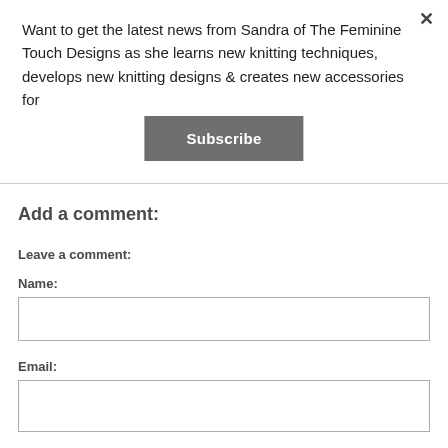Want to get the latest news from Sandra of The Feminine Touch Designs as she learns new knitting techniques, develops new knitting designs & creates new accessories for
Subscribe
Add a comment:
Leave a comment:
Name:
Email: